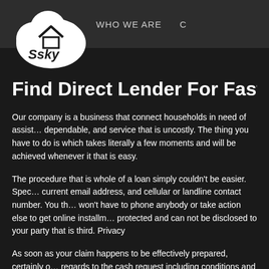[Figure (logo): Ssky company logo: white cloud shape with a house/roof icon inside and the text 'Ssky' in stylized font]
WHO WE ARE
Find Direct Lender For Fast Insta…
Our company is a business that connect households in need of assist… dependable, and service that is uncostly. The thing you have to do is which takes literally a few moments and will be achieved whenever it that is easy.
The procedure that is whole of a loan simply couldn't be easier. Spec… current email address, and cellular or landline contact number. You th… won't have to phone anybody or take action else to get online installm… protected and can not be disclosed to your party that is third. Privacy
As soon as your claim happens to be effectively prepared, certainly o… regards to the cash request including conditions and terms therefore